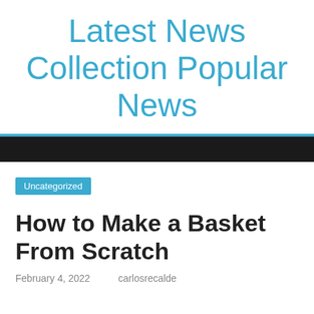Latest News Collection Popular News
Uncategorized
How to Make a Basket From Scratch
February 4, 2022    carlosrecalde